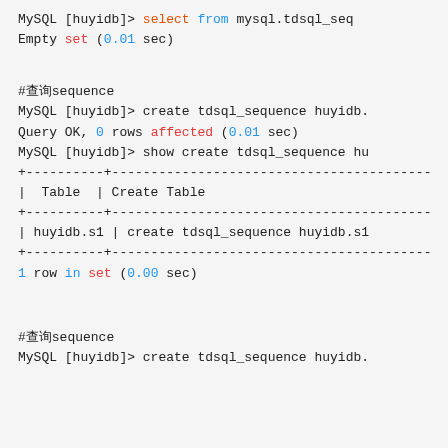MySQL [huyidb]> select  from mysql.tdsql_seq
Empty set (0.01 sec)
#查询sequence
MySQL [huyidb]> create tdsql_sequence huyidb.
Query OK, 0 rows affected (0.01 sec)
MySQL [huyidb]> show create tdsql_sequence hu
+----------+-----------------------------------
|  Table  | Create Table
+----------+-----------------------------------
| huyidb.s1 | create tdsql_sequence huyidb.s1
+----------+-----------------------------------
1 row in set (0.00 sec)
#查询sequence
MySQL [huyidb]> create tdsql_sequence huyidb.